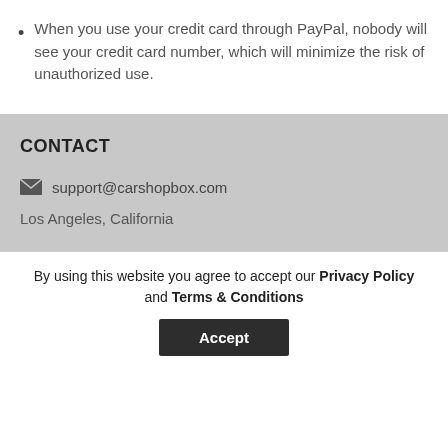When you use your credit card through PayPal, nobody will see your credit card number, which will minimize the risk of unauthorized use.
CONTACT
support@carshopbox.com
Los Angeles, California
By using this website you agree to accept our Privacy Policy and Terms & Conditions